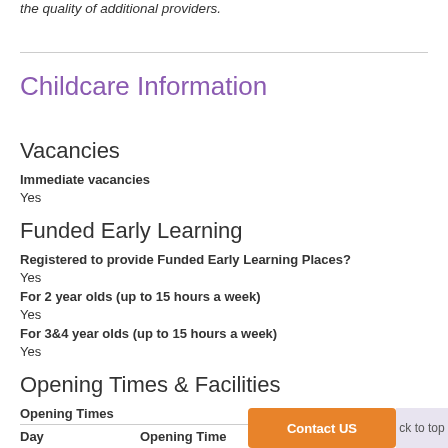the quality of additional providers.
Childcare Information
Vacancies
Immediate vacancies
Yes
Funded Early Learning
Registered to provide Funded Early Learning Places?
Yes
For 2 year olds (up to 15 hours a week)
Yes
For 3&4 year olds (up to 15 hours a week)
Yes
Opening Times & Facilities
Opening Times
| Day | Opening Time | Closing Time |
| --- | --- | --- |